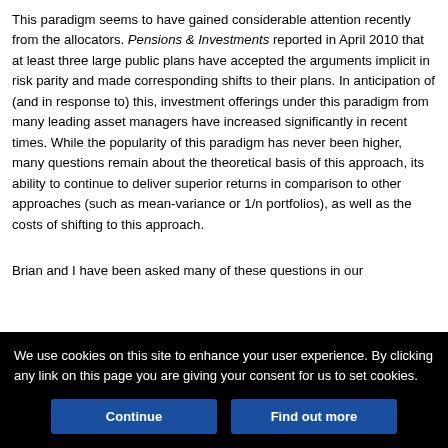This paradigm seems to have gained considerable attention recently from the allocators. Pensions & Investments reported in April 2010 that at least three large public plans have accepted the arguments implicit in risk parity and made corresponding shifts to their plans. In anticipation of (and in response to) this, investment offerings under this paradigm from many leading asset managers have increased significantly in recent times. While the popularity of this paradigm has never been higher, many questions remain about the theoretical basis of this approach, its ability to continue to deliver superior returns in comparison to other approaches (such as mean-variance or 1/n portfolios), as well as the costs of shifting to this approach.
Brian and I have been asked many of these questions in our
We use cookies on this site to enhance your user experience. By clicking any link on this page you are giving your consent for us to set cookies.